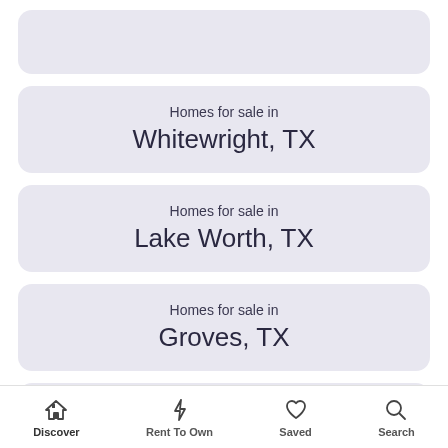Homes for sale in Whitewright, TX
Homes for sale in Lake Worth, TX
Homes for sale in Groves, TX
Homes for sale in Chico, TX
Discover | Rent To Own | Saved | Search